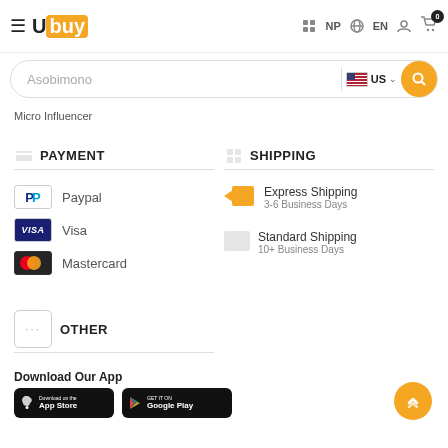[Figure (screenshot): Ubuy e-commerce website header with logo, NP flag, EN language, user icon, and cart with 0 items]
[Figure (screenshot): Search bar with text 'Asobimono', US flag country selector, and orange search button]
Micro Influencer
PAYMENT
Paypal
Visa
Mastercard
SHIPPING
Express Shipping
3-6 Business Days
Standard Shipping
10+ Business Days
OTHER
Download Our App
[Figure (logo): App Store download button]
[Figure (logo): Google Play download button]